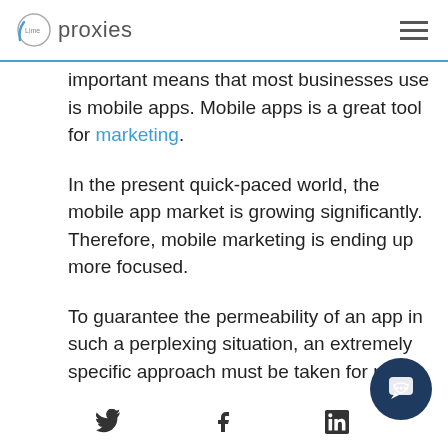Lime proxies
important means that most businesses use is mobile apps. Mobile apps is a great tool for marketing.
In the present quick-paced world, the mobile app market is growing significantly. Therefore, mobile marketing is ending up more focused.
To guarantee the permeability of an app in such a perplexing situation, an extremely specific approach must be taken for mo
Twitter Facebook LinkedIn